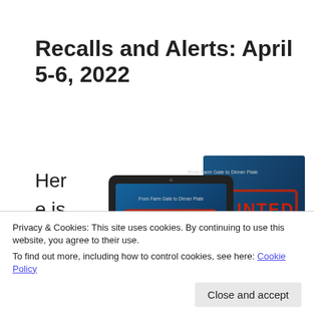Recalls and Alerts: April 5-6, 2022
Here is today's list of
[Figure (photo): Book cover image showing a tablet and book titled 'TAINTED: Fifty Years of Food Safety Failures - From Farm Gate to Dinner Plate'. The cover has a blue background with a red stamp-style 'TAINTED' text.]
ty
Privacy & Cookies: This site uses cookies. By continuing to use this website, you agree to their use.
To find out more, including how to control cookies, see here: Cookie Policy
Close and accept